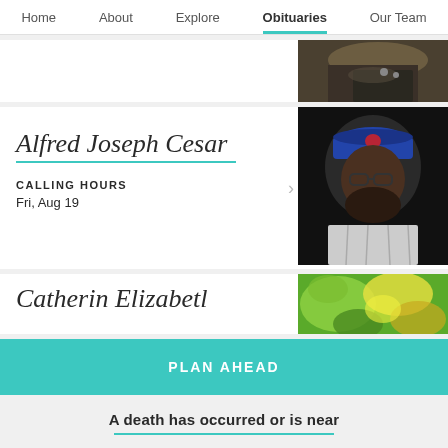Home  About  Explore  Obituaries  Our Team
[Figure (photo): Partial view of a man in a brown jacket and dark polo shirt]
Alfred Joseph Cesar
CALLING HOURS
Fri, Aug 19
[Figure (photo): Man wearing a blue NY Mets cap and glasses, with a beard, in a plaid shirt]
Catherine Elizabeth
[Figure (photo): Colorful floral or nature photo in green and yellow tones]
PLAN AHEAD
A death has occurred or is near